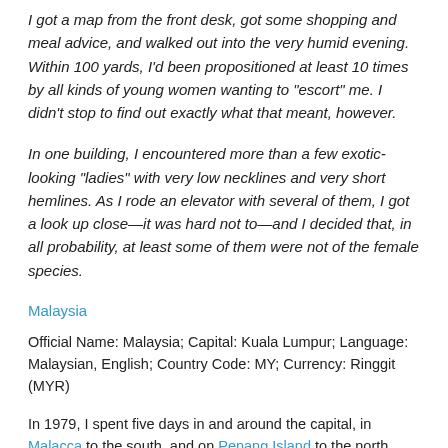I got a map from the front desk, got some shopping and meal advice, and walked out into the very humid evening. Within 100 yards, I'd been propositioned at least 10 times by all kinds of young women wanting to "escort" me. I didn't stop to find out exactly what that meant, however.
In one building, I encountered more than a few exotic-looking "ladies" with very low necklines and very short hemlines. As I rode an elevator with several of them, I got a look up close—it was hard not to—and I decided that, in all probability, at least some of them were not of the female species.
Malaysia
Official Name: Malaysia; Capital: Kuala Lumpur; Language: Malaysian, English; Country Code: MY; Currency: Ringgit (MYR)
In 1979, I spent five days in and around the capital, in Malacca to the south, and on Penang Island to the north